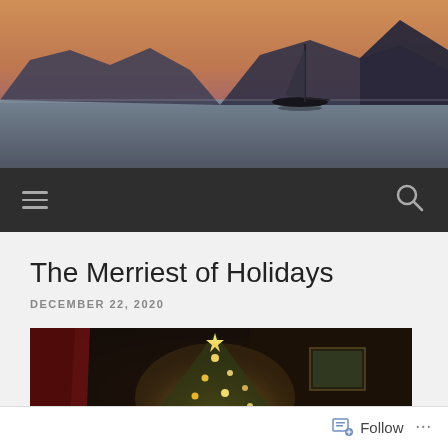[Figure (photo): Sunset scene with sailboat on water, silhouette of mountains in background with orange and pink sky]
Navigation bar with hamburger menu icon and search icon
The Merriest of Holidays
DECEMBER 22, 2020
[Figure (photo): Dark interior photo of a decorated Christmas tree with bright lights, red curtain visible on the left side]
Follow ...